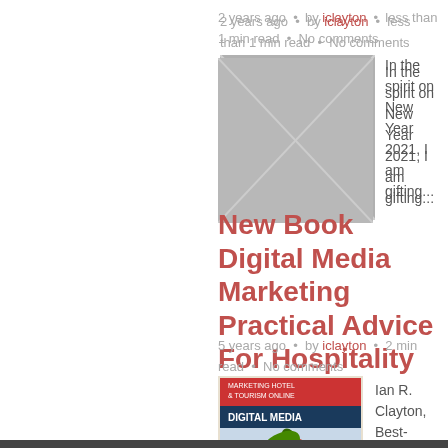2 years ago · by iclayton · less than 1 min read · No comments
[Figure (photo): Placeholder image with gray background and X cross lines]
In the spirit on New Year 2021, I am gifting...
New Book Digital Media Marketing Practical Advice For Hospitality
5 years ago · by iclayton · 2 min read · No comments
[Figure (photo): Book cover for Digital Media Marketing & Tourism Online by Ian R. Clayton, featuring an apple graphic]
Ian R. Clayton, Best-selling author of HOTEL WEBSITE Strategies, has...